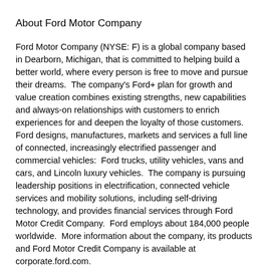About Ford Motor Company
Ford Motor Company (NYSE: F) is a global company based in Dearborn, Michigan, that is committed to helping build a better world, where every person is free to move and pursue their dreams.  The company's Ford+ plan for growth and value creation combines existing strengths, new capabilities and always-on relationships with customers to enrich experiences for and deepen the loyalty of those customers.  Ford designs, manufactures, markets and services a full line of connected, increasingly electrified passenger and commercial vehicles:  Ford trucks, utility vehicles, vans and cars, and Lincoln luxury vehicles.  The company is pursuing leadership positions in electrification, connected vehicle services and mobility solutions, including self-driving technology, and provides financial services through Ford Motor Credit Company.  Ford employs about 184,000 people worldwide.  More information about the company, its products and Ford Motor Credit Company is available at corporate.ford.com.